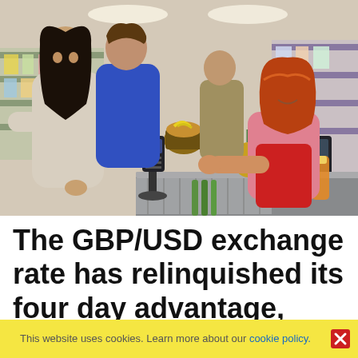[Figure (photo): Photo of customers at a supermarket checkout. A woman in a light sweater is paying at a card terminal while a male companion stands behind her with a basket of groceries. A smiling female cashier with red hair in a pink uniform reaches across the conveyor belt. Fresh vegetables and fruit are visible on the belt.]
The GBP/USD exchange rate has relinquished its four day advantage, even as front-line
This website uses cookies. Learn more about our cookie policy.